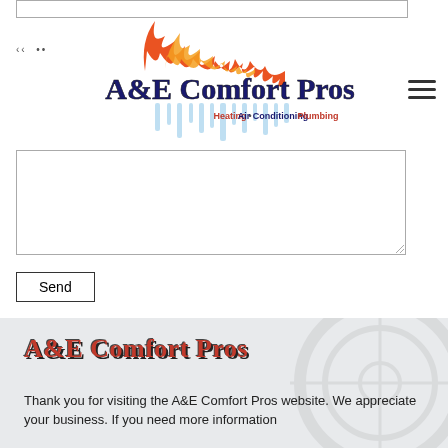[Figure (logo): A&E Comfort Pros logo with flames on top and icicles below, text reading 'A&E Comfort Pros' and 'Heating • Air Conditioning • Plumbing']
[Figure (other): Text area input box (empty)]
Send
A&E Comfort Pros
Thank you for visiting the A&E Comfort Pros website. We appreciate your business. If you need more information